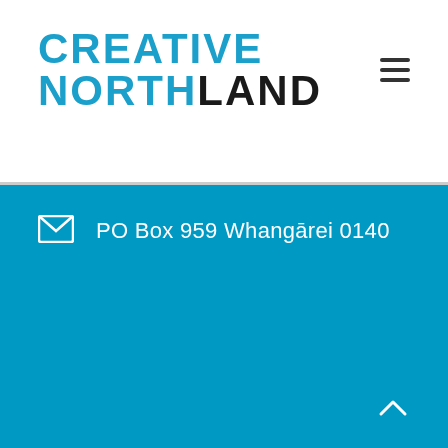[Figure (logo): Creative Northland logo — 'CREATIVE' in bold blue uppercase, 'NORTHLAND' in bold black uppercase with 'NORTH' in blue]
PO Box 959 Whangārei 0140